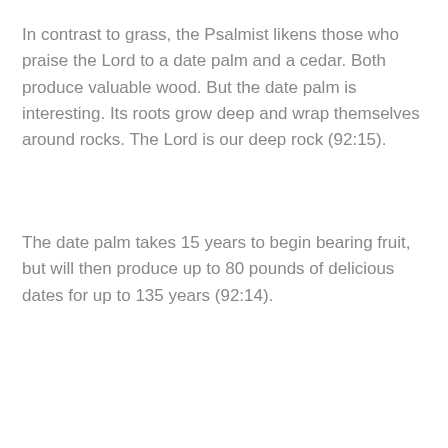In contrast to grass, the Psalmist likens those who praise the Lord to a date palm and a cedar. Both produce valuable wood. But the date palm is interesting. Its roots grow deep and wrap themselves around rocks. The Lord is our deep rock (92:15).
The date palm takes 15 years to begin bearing fruit, but will then produce up to 80 pounds of delicious dates for up to 135 years (92:14).